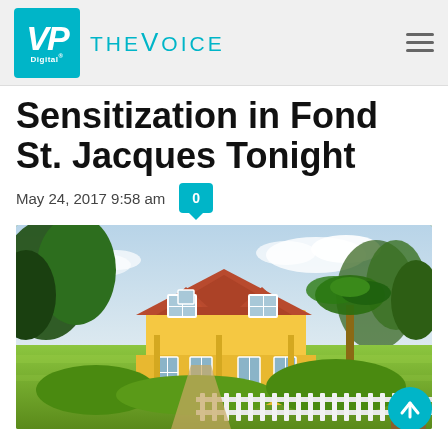VP Digital – THE VOICE
Sensitization in Fond St. Jacques Tonight
May 24, 2017 9:58 am   0
[Figure (photo): A yellow Caribbean house with a red tin roof surrounded by lush tropical vegetation and a manicured green lawn with a white picket fence in the foreground.]